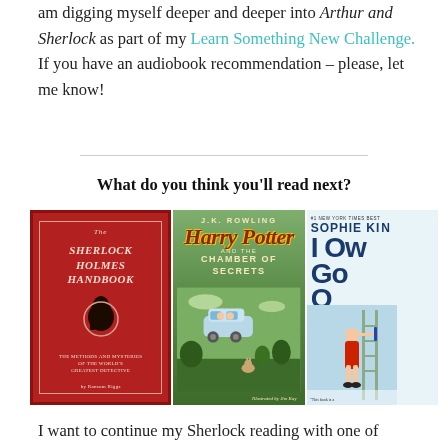am digging myself deeper and deeper into Arthur and Sherlock as part of my Learn Something New Challenge. If you have an audiobook recommendation – please, let me know!
What do you think you'll read next?
[Figure (illustration): Three book covers side by side: (1) The Sherlock Holmes Handbook on a red background with silhouette of Holmes; (2) Harry Potter and the Chamber of Secrets by J.K. Rowling illustrated edition showing a flying car; (3) Partially visible book by Sophie King with large letters 'I Ow Go O' on light blue cover with a woman in red dress]
I want to continue my Sherlock reading with one of